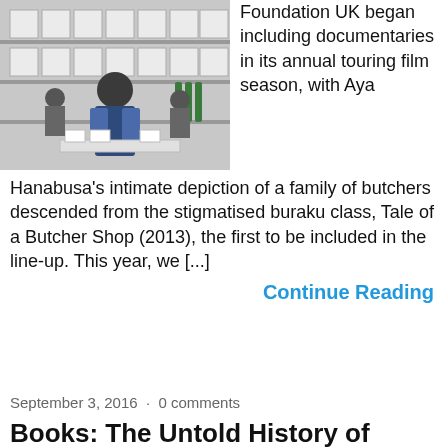[Figure (photo): Person working at a warehouse or packing facility, surrounded by white boxes and shelves]
Foundation UK began including documentaries in its annual touring film season, with Aya Hanabusa's intimate depiction of a family of butchers descended from the stigmatised buraku class, Tale of a Butcher Shop (2013), the first to be included in the line-up. This year, we [...]
Continue Reading
September 3, 2016 · 0 comments
Books: The Untold History of Ramen
[Figure (photo): Partial image of a person, bottom of page]